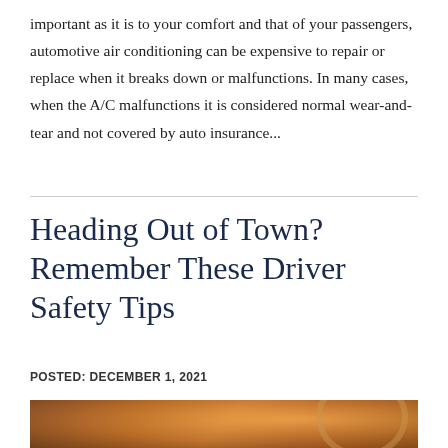important as it is to your comfort and that of your passengers, automotive air conditioning can be expensive to repair or replace when it breaks down or malfunctions. In many cases, when the A/C malfunctions it is considered normal wear-and-tear and not covered by auto insurance...
Heading Out of Town? Remember These Driver Safety Tips
POSTED: DECEMBER 1, 2021
[Figure (photo): A warm-toned photo showing a person's hands on a car steering wheel, photographed from the driver's perspective with orange/amber light.]